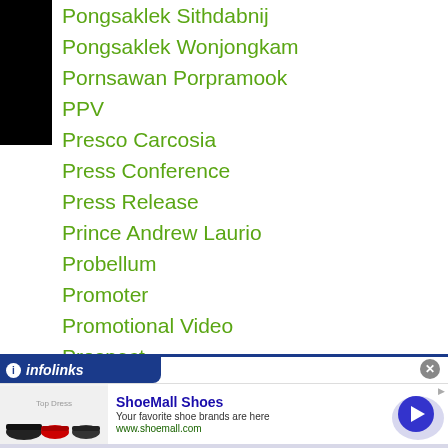Pongsaklek Sithdabnij
Pongsaklek Wonjongkam
Pornsawan Porpramook
PPV
Presco Carcosia
Press Conference
Press Release
Prince Andrew Laurio
Probellum
Promoter
Promotional Video
Prospect
Protest
Public Work Out
Pungluang Sor Singyu
[Figure (screenshot): Infolinks advertisement banner for ShoeMall Shoes showing shoe images, title 'ShoeMall Shoes', tagline 'Your favorite shoe brands are here', URL www.shoemall.com, with navigation arrow button]